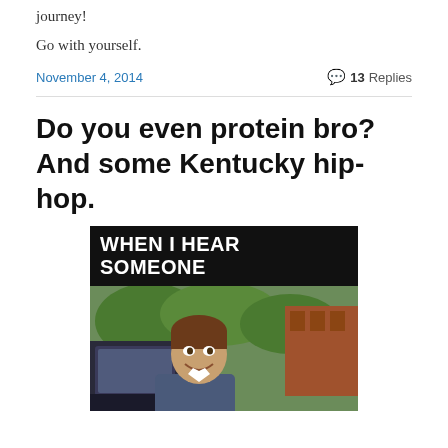journey!
Go with yourself.
November 4, 2014
💬 13 Replies
Do you even protein bro? And some Kentucky hip-hop.
[Figure (photo): Internet meme image with black top bar reading 'WHEN I HEAR SOMEONE' and a photo of a young man smiling leaning out of a car door, with trees and a brick building in background.]